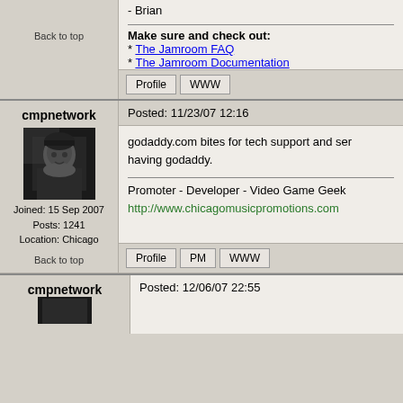- Brian
Make sure and check out:
* The Jamroom FAQ
* The Jamroom Documentation
Back to top
Posted: 11/23/07 12:16
cmpnetwork
[Figure (photo): Profile photo of cmpnetwork user, wearing dark jacket and beanie hat]
Joined: 15 Sep 2007
Posts: 1241
Location: Chicago
godaddy.com bites for tech support and ser... having godaddy.
Promoter - Developer - Video Game Geek
http://www.chicagomusicpromotions.com
Back to top
Posted: 12/06/07 22:55
cmpnetwork